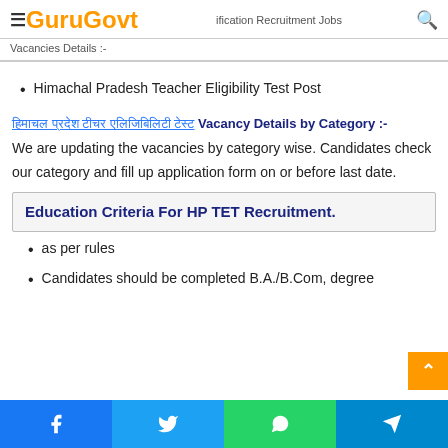GuruGovt — Qualification Recruitment Jobs Vacancies Details :-
Himachal Pradesh Teacher Eligibility Test Post
हिमाचल प्रदेश टीचर एलिजिबिलिटी टेस्ट Vacancy Details by Category :-
We are updating the vacancies by category wise. Candidates check our category and fill up application form on or before last date.
| Education Criteria For HP TET Recruitment. |
| --- |
as per rules
Candidates should be completed B.A./B.Com, degree